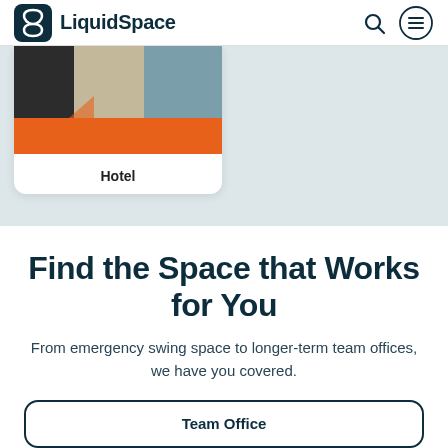LiquidSpace
[Figure (screenshot): Hotel venue card with colorful image showing teal, black, tan color blocks with orange banner, labeled 'Hotel']
Find the Space that Works for You
From emergency swing space to longer-term team offices, we have you covered.
Team Office